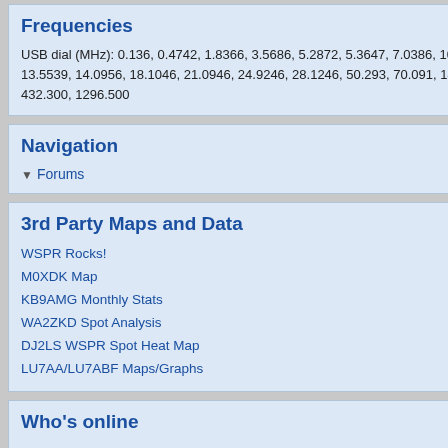Frequencies
USB dial (MHz): 0.136, 0.4742, 1.8366, 3.5686, 5.2872, 5.3647, 7.0386, 10.1387, 13.5539, 14.0956, 18.1046, 21.0946, 24.9246, 28.1246, 50.293, 70.091, 144.489, 432.300, 1296.500
Navigation
Forums
3rd Party Maps and Data
WSPR Rocks!
M0XDK Map
KB9AMG Monthly Stats
WA2ZKD Spot Analysis
DJ2LS WSPR Spot Heat Map
LU7AA/LU7ABF Maps/Graphs
Who's online
| Topic / Topic starter |
| --- |
| Drift reports on database
by m5adz » Tue, 2009/07/28 |
| DSB
by nr5a » Thu, 2009/04/02 - |
| DSP noise reduction with WS... some ?
by g8xlh » Sun, 2009/05/10 - |
| DTR & RTS - what do the let... for?
by G3HKH » Sun, 2010/10/2... |
| Dual instance of WSPR
by VK5AKJ » Mon, 2017/03/2... |
| Duplicate call received all at ... time with slightly different fre...
by M0BOB » Tue, 2013/07/0... |
| Duplicate spots of my signal?...
by AB7RH » Sun, 2019/10/1... |